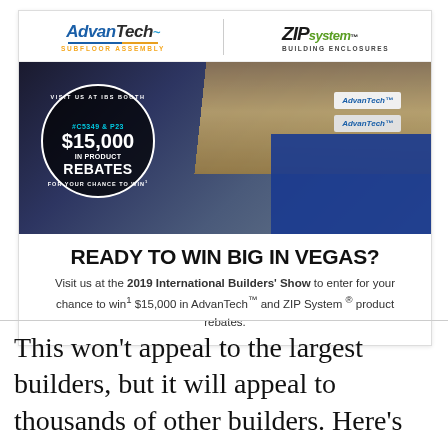[Figure (infographic): Advertisement for AdvanTech Subfloor Assembly and ZIP System Building Enclosures featuring a trade show booth photo with a circular badge overlay showing '$15,000 IN PRODUCT REBATES' and text 'VISIT US AT IBS BOOTH #C5349 & P23 FOR YOUR CHANCE TO WIN']
READY TO WIN BIG IN VEGAS?
Visit us at the 2019 International Builders' Show to enter for your chance to win¹ $15,000 in AdvanTech™ and ZIP System® product rebates.
This won’t appeal to the largest builders, but it will appeal to thousands of other builders. Here’s